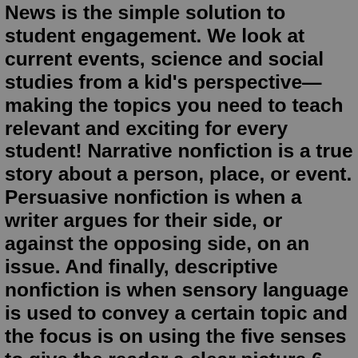News is the simple solution to student engagement. We look at current events, science and social studies from a kid's perspective—making the topics you need to teach relevant and exciting for every student! Narrative nonfiction is a true story about a person, place, or event. Persuasive nonfiction is when a writer argues for their side, or against the opposing side, on an issue. And finally, descriptive nonfiction is when sensory language is used to convey a certain topic and the focus is on using the five senses to give the reader a clear picture.6. Shy by Mary Rodgers and Jesse Greenk. The memoirs of the late composer, author and screenwriter, written with the chief theater critic at The New York Times. 7. Greenlights by Matthew McConaughey. The Academy Award-winning actor shares snippets from the diaries he kept over the last 35 years.2. While Non-fiction focuses on ideas or events that actually took place, fiction tends to be focussing on imaginary ideas and events. 3. Fictions are made up stories and Non-fictions are entirely fact-based writings. 4. Fictions are just entertainers and